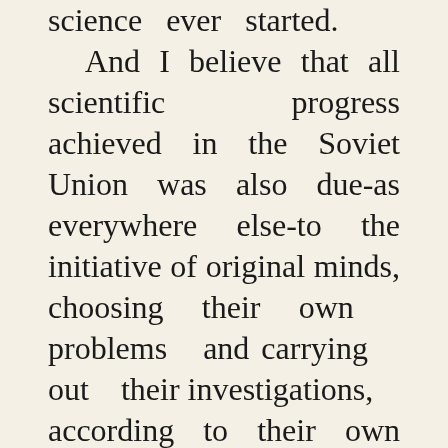science ever started. And I believe that all scientific progress achieved in the Soviet Union was also due-as everywhere else-to the initiative of original minds, choosing their own problems and carrying out their investigations, according to their own lights. This does not mean that society is asked to subsidize the private intellectual pleasure of scientists. It is true that the beauty of a particular discovery can be fully enjoyed only by the expert. But wide